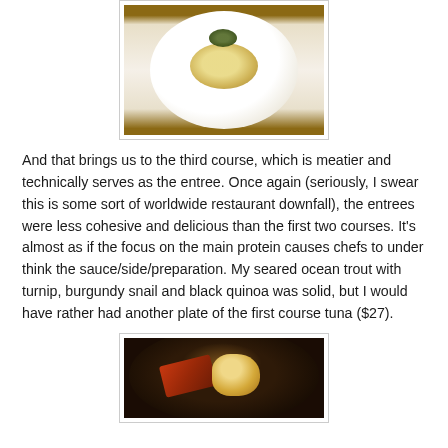[Figure (photo): A white bowl/plate with a soup or broth dish topped with green garnish and golden toppings, photographed on a wooden table surface from above.]
And that brings us to the third course, which is meatier and technically serves as the entree.  Once again (seriously, I swear this is some sort of worldwide restaurant downfall), the entrees were less cohesive and delicious than the first two courses.  It's almost as if the focus on the main protein causes chefs to under think the sauce/side/preparation.  My seared ocean trout with turnip, burgundy snail and black quinoa was solid, but I would have rather had another plate of the first course tuna ($27).
[Figure (photo): A dark plate with seared fish/protein and a pale garnish, photographed in warm dim restaurant lighting.]